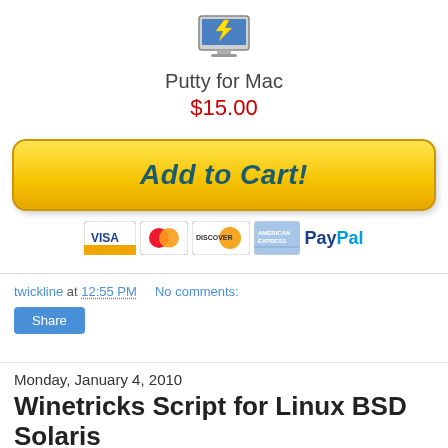[Figure (illustration): Computer with lightning bolt icon (Putty for Mac product icon)]
Putty for Mac
$15.00
[Figure (other): Yellow Add to Cart! button with payment icons: Visa, MasterCard, Discover, American Express, PayPal]
twickline at 12:55 PM    No comments:
[Figure (other): Share button]
Monday, January 4, 2010
Winetricks Script for Linux BSD Solaris